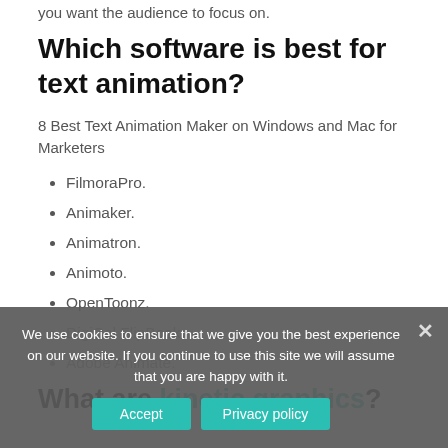you want the audience to focus on.
Which software is best for text animation?
8 Best Text Animation Maker on Windows and Mac for Marketers
FilmoraPro.
Animaker.
Animatron.
Animoto.
OpenToonz.
DigiCel FlipBook.
Adobe Animate.
What are kinetic graphics?
We use cookies to ensure that we give you the best experience on our website. If you continue to use this site we will assume that you are happy with it.